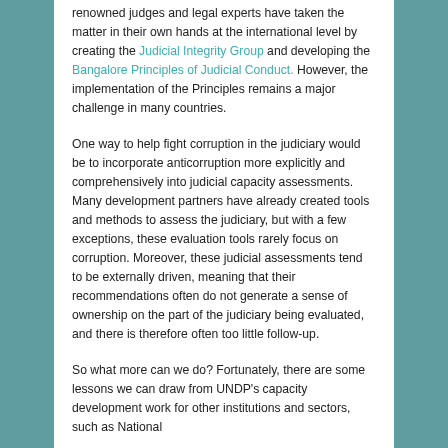renowned judges and legal experts have taken the matter in their own hands at the international level by creating the Judicial Integrity Group and developing the Bangalore Principles of Judicial Conduct. However, the implementation of the Principles remains a major challenge in many countries.
One way to help fight corruption in the judiciary would be to incorporate anticorruption more explicitly and comprehensively into judicial capacity assessments. Many development partners have already created tools and methods to assess the judiciary, but with a few exceptions, these evaluation tools rarely focus on corruption. Moreover, these judicial assessments tend to be externally driven, meaning that their recommendations often do not generate a sense of ownership on the part of the judiciary being evaluated, and there is therefore often too little follow-up.
So what more can we do? Fortunately, there are some lessons we can draw from UNDP's capacity development work for other institutions and sectors, such as National